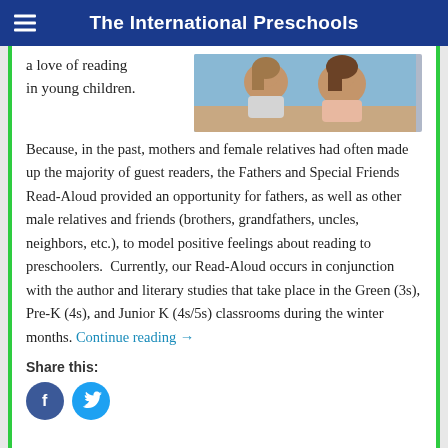The International Preschools
a love of reading in young children.
[Figure (photo): Two young children viewed from behind, appearing to read or look at something together in a classroom setting with a blue background.]
Because, in the past, mothers and female relatives had often made up the majority of guest readers, the Fathers and Special Friends Read-Aloud provided an opportunity for fathers, as well as other male relatives and friends (brothers, grandfathers, uncles, neighbors, etc.), to model positive feelings about reading to preschoolers.  Currently, our Read-Aloud occurs in conjunction with the author and literary studies that take place in the Green (3s), Pre-K (4s), and Junior K (4s/5s) classrooms during the winter months. Continue reading →
Share this: